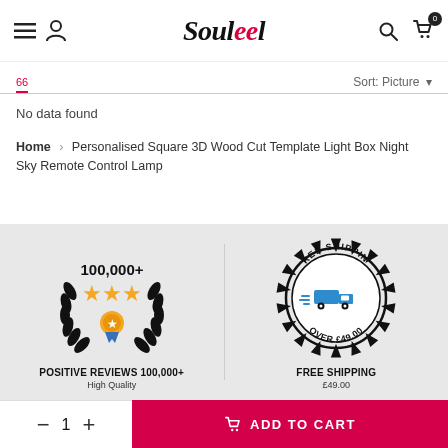Soufeel
Sort: Picture
No data found
Home › Personalised Square 3D Wood Cut Template Light Box Night Sky Remote Control Lamp
[Figure (illustration): 100,000+ positive reviews badge with laurel wreath, stars, and gold medal]
POSITIVE REVIEWS 100,000+
High Quality
[Figure (illustration): Free shipping stamp badge with delivery truck icon, text: FREE SHIPPING OVER £49.00]
FREE SHIPPING
£49.00
ADD TO CART